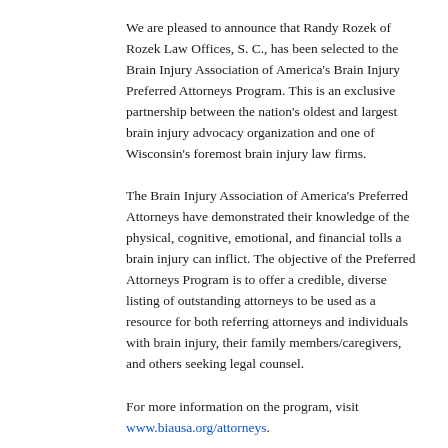We are pleased to announce that Randy Rozek of Rozek Law Offices, S. C., has been selected to the Brain Injury Association of America's Brain Injury Preferred Attorneys Program. This is an exclusive partnership between the nation's oldest and largest brain injury advocacy organization and one of Wisconsin's foremost brain injury law firms.
The Brain Injury Association of America's Preferred Attorneys have demonstrated their knowledge of the physical, cognitive, emotional, and financial tolls a brain injury can inflict. The objective of the Preferred Attorneys Program is to offer a credible, diverse listing of outstanding attorneys to be used as a resource for both referring attorneys and individuals with brain injury, their family members/caregivers, and others seeking legal counsel.
For more information on the program, visit www.biausa.org/attorneys.
Milwaukee Wisconsin Personal Injury Law Firm Rozek